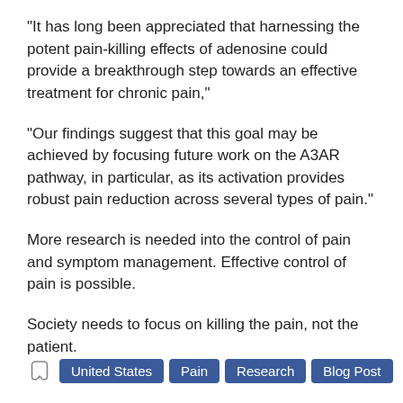"It has long been appreciated that harnessing the potent pain-killing effects of adenosine could provide a breakthrough step towards an effective treatment for chronic pain,"
"Our findings suggest that this goal may be achieved by focusing future work on the A3AR pathway, in particular, as its activation provides robust pain reduction across several types of pain."
More research is needed into the control of pain and symptom management. Effective control of pain is possible.
Society needs to focus on killing the pain, not the patient.
United States
Pain
Research
Blog Post